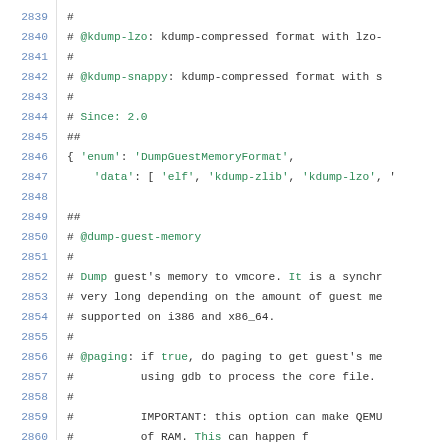2839  #
2840  # @kdump-lzo: kdump-compressed format with lzo-
2841  #
2842  # @kdump-snappy: kdump-compressed format with s
2843  #
2844  # Since: 2.0
2845  ##
2846  { 'enum': 'DumpGuestMemoryFormat',
2847    'data': [ 'elf', 'kdump-zlib', 'kdump-lzo', '
2848
2849  ##
2850  # @dump-guest-memory
2851  #
2852  # Dump guest's memory to vmcore. It is a synchr
2853  # very long depending on the amount of guest me
2854  # supported on i386 and x86_64.
2855  #
2856  # @paging: if true, do paging to get guest's me
2857  #          using gdb to process the core file.
2858  #
2859  #          IMPORTANT: this option can make QEMU
2860  #          of RAM. This can happen f